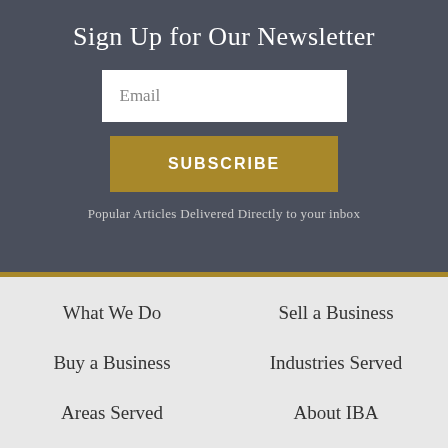Sign Up for Our Newsletter
Email
SUBSCRIBE
Popular Articles Delivered Directly to your inbox
What We Do
Sell a Business
Buy a Business
Industries Served
Areas Served
About IBA